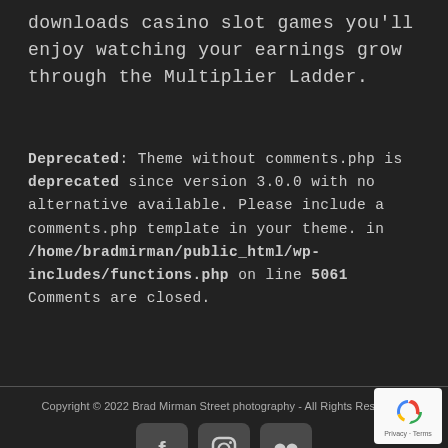downloads casino slot games you'll enjoy watching your earnings grow through the Multiplier Ladder.
Deprecated: Theme without comments.php is deprecated since version 3.0.0 with no alternative available. Please include a comments.php template in your theme. in /home/bradmirman/public_html/wp-includes/functions.php on line 5061
Comments are closed.
Copyright © 2022 Brad Mirman Street photography - All Rights Reserved.
Website by MindSurf